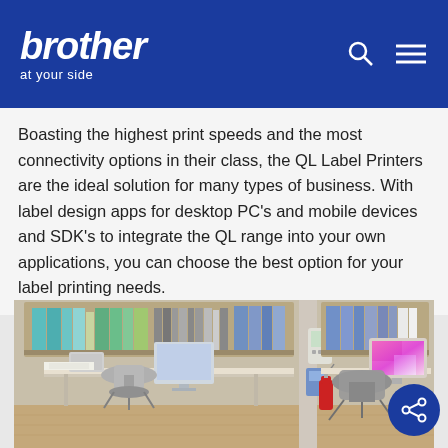brother at your side
Boasting the highest print speeds and the most connectivity options in their class, the QL Label Printers are the ideal solution for many types of business. With label design apps for desktop PC's and mobile devices and SDK's to integrate the QL range into your own applications, you can choose the best option for your label printing needs.
[Figure (photo): Office environment showing two workstations with office chairs, shelving with binders and folders, computers, and a fire extinguisher mounted on a dividing wall]